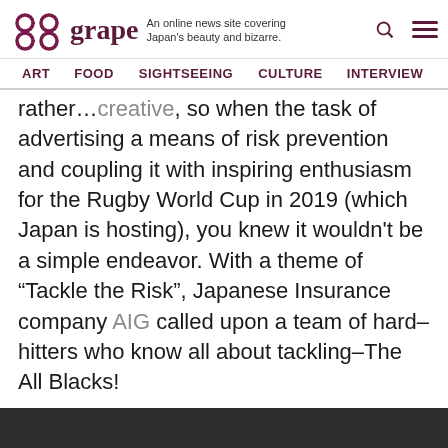grape — An online news site covering Japan's beauty and bizarre.
ART | FOOD | SIGHTSEEING | CULTURE | INTERVIEW
rather...creative, so when the task of advertising a means of risk prevention and coupling it with inspiring enthusiasm for the Rugby World Cup in 2019 (which Japan is hosting), you knew it wouldn't be a simple endeavor. With a theme of "Tackle the Risk", Japanese Insurance company AIG called upon a team of hard-hitters who know all about tackling–The All Blacks!
[Figure (screenshot): Video unavailable placeholder with dark background, circle exclamation icon, text 'Video unavailable' and 'This video is unavailable']